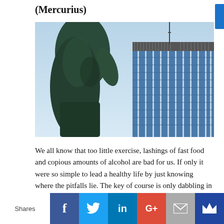(Mercurius)
[Figure (photo): Low-angle photo showing a dark green statue/sculpture on the left and a tall modern glass office building with vertical white stripes against a light blue sky on the right.]
We all know that too little exercise, lashings of fast food and copious amounts of alcohol are bad for us. If only it were so simple to lead a healthy life by just knowing where the pitfalls lie. The key of course is only dabbling in small doses and above all being consistent. Throw in a
Shares | Facebook | Twitter | LinkedIn | Google+ | Email | Wibbitz